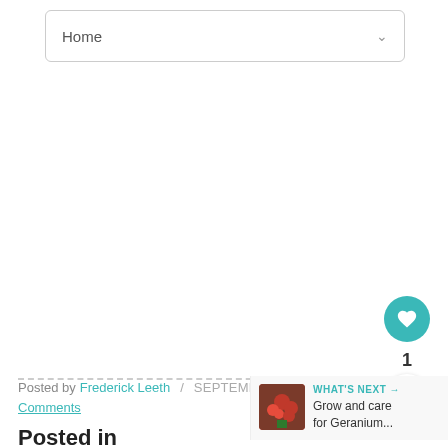Home
[Figure (other): Like/heart button (teal circle with white heart icon), like count 1, and share button (white circle with teal share icon)]
Posted by Frederick Leeth / SEPTEMBER 21, 201…
Comments
[Figure (other): WHAT'S NEXT -> thumbnail of red/pink flowers, text: Grow and care for Geranium...]
Posted in